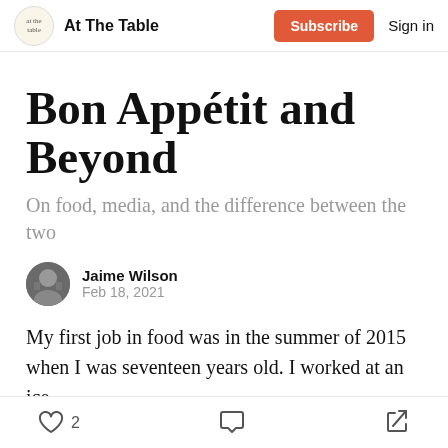At The Table | Subscribe | Sign in
Bon Appétit and Beyond
On food, media, and the difference between the two
Jaime Wilson
Feb 18, 2021
My first job in food was in the summer of 2015 when I was seventeen years old. I worked at an ice
2 likes · comment · share